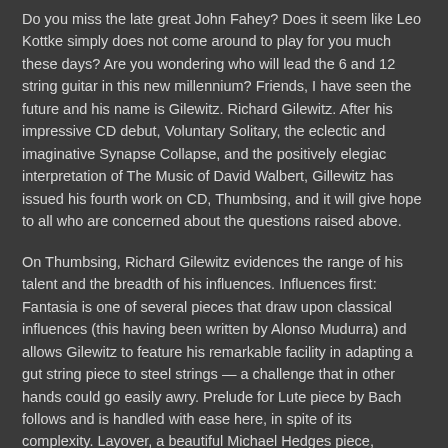Do you miss the late great John Fahey? Does it seem like Leo Kottke simply does not come around to play for you much these days? Are you wondering who will lead the 6 and 12 string guitar in this new millennium? Friends, I have seen the future and his name is Gilewitz. Richard Gilewitz. After his impressive CD debut, Voluntary Solitary, the eclectic and imaginative Synapse Collapse, and the positively elegiac interpretation of The Music of David Walbert, Gillewitz has issued his fourth work on CD, Thumbsing, and it will give hope to all who are concerned about the questions raised above.
On Thumbsing, Richard Gilewitz evidences the range of his talent and the breadth of his influences. Influences first: Fantasia is one of several pieces that draw upon classical influences (this having been written by Alonso Mudurra) and allows Gilewitz to feature his remarkable facility in adapting a gut string piece to steel strings — a challenge that in other hands could go easily awry. Prelude for Lute piece by Bach follows and is handled with ease here, in spite of its complexity. Layover, a beautiful Michael Hedges piece, Gilewitz makes his own. Gilewitz takes on Elizabeth Cotton's Freight Train and makes it sound almost as if he is playing it on a hybrid hammered dulcimer/banjo. John Renbourn's The Hermit has Gilewitz doing so much on the fret board, including ringing harmonics, that you wondered if he overdubbed it (he did not). Finally